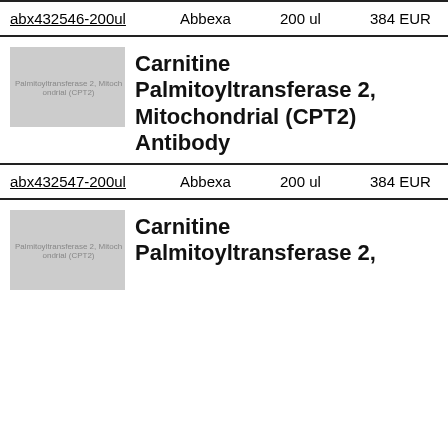| Product ID | Vendor | Size | Price |
| --- | --- | --- | --- |
| abx432546-200ul | Abbexa | 200 ul | 384 EUR |
[Figure (photo): Product image placeholder for Carnitine Palmitoyltransferase 2, Mitochondrial (CPT2) Antibody]
Carnitine Palmitoyltransferase 2, Mitochondrial (CPT2) Antibody
| Product ID | Vendor | Size | Price |
| --- | --- | --- | --- |
| abx432547-200ul | Abbexa | 200 ul | 384 EUR |
[Figure (photo): Product image placeholder for Carnitine Palmitoyltransferase 2, Mitochondrial (CPT2) Antibody]
Carnitine Palmitoyltransferase 2,